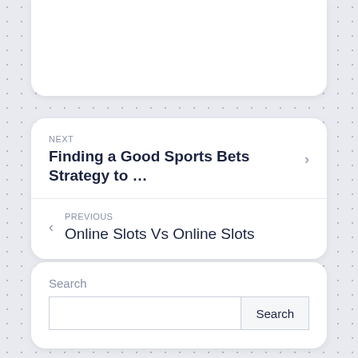[Figure (screenshot): Top portion of a white rounded card, partially visible at the top of the page]
NEXT
Finding a Good Sports Bets Strategy to …
PREVIOUS
Online Slots Vs Online Slots
Search